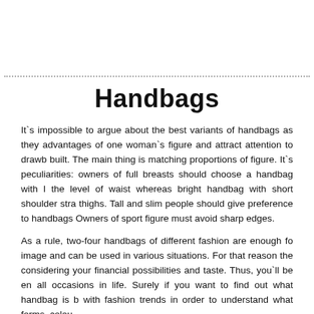Handbags
It`s impossible to argue about the best variants of handbags as they advantages of one woman`s figure and attract attention to drawbacks of built. The main thing is matching proportions of figure. It`s peculiarities: owners of full breasts should choose a handbag with long strap at the level of waist whereas bright handbag with short shoulder strap will emphasize thighs. Tall and slim people should give preference to handbags of middle sizes. Owners of sport figure must avoid sharp edges.
As a rule, two-four handbags of different fashion are enough for creating image and can be used in various situations. For that reason they are chosen considering your financial possibilities and taste. Thus, you`ll be ensured for all occasions in life. Surely if you want to find out what handbag is better to follow with fashion trends in order to understand what forms, colours are fashionable.